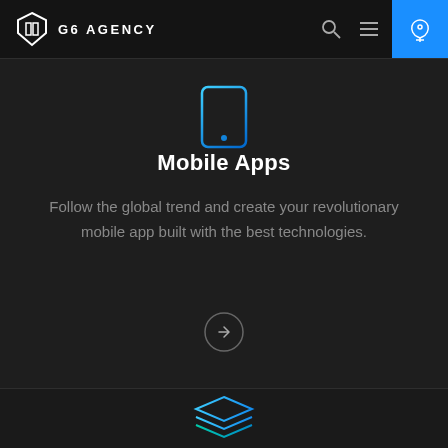G6 AGENCY
[Figure (illustration): Mobile phone outline icon in cyan/blue color]
Mobile Apps
Follow the global trend and create your revolutionary mobile app built with the best technologies.
[Figure (illustration): Arrow right inside a circle, link/navigation button]
[Figure (illustration): Stacked layers icon in cyan/blue color at bottom of page]